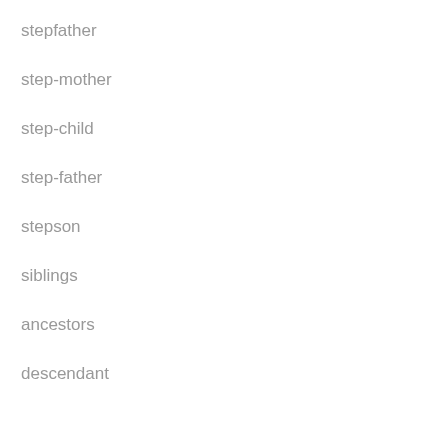stepfather
step-mother
step-child
step-father
stepson
siblings
ancestors
descendant